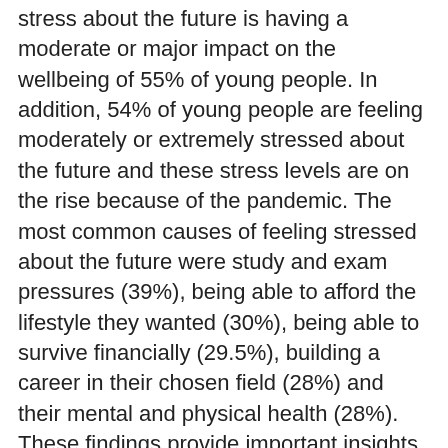stress about the future is having a moderate or major impact on the wellbeing of 55% of young people. In addition, 54% of young people are feeling moderately or extremely stressed about the future and these stress levels are on the rise because of the pandemic. The most common causes of feeling stressed about the future were study and exam pressures (39%), being able to afford the lifestyle they wanted (30%), being able to survive financially (29.5%), building a career in their chosen field (28%) and their mental and physical health (28%). These findings provide important insights about how stress about the future is manifesting for young people, when they are experiencing it and what could help.